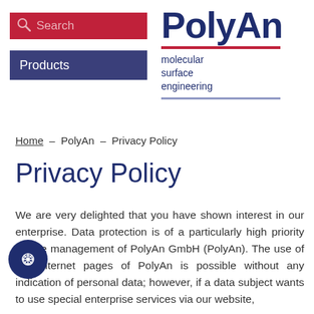[Figure (logo): PolyAn logo with search bar (red background, magnifier icon, 'Search' text), Products navigation button (dark blue background), and PolyAn brand logo with red underline, subtitle 'molecular surface engineering', and blue underline]
Home – PolyAn – Privacy Policy
Privacy Policy
We are very delighted that you have shown interest in our enterprise. Data protection is of a particularly high priority for the management of PolyAn GmbH (PolyAn). The use of the Internet pages of PolyAn is possible without any indication of personal data; however, if a data subject wants to use special enterprise services via our website,